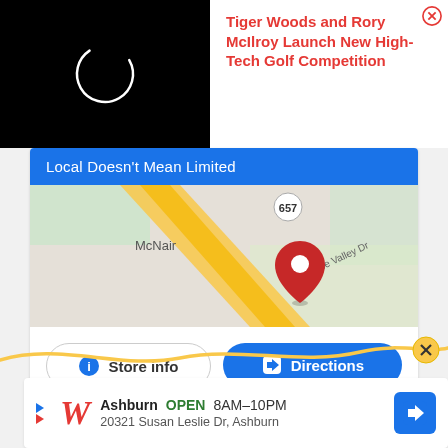[Figure (screenshot): Video loading spinner on black background (top-left of ad)]
Tiger Woods and Rory McIlroy Launch New High-Tech Golf Competition
[Figure (map): Google Maps showing McNair area with route 657, Sunrise Valley Dr, and a red map pin marker]
Local Doesn't Mean Limited
Store info
Directions
[Figure (screenshot): Yellow decorative wave line at bottom of page]
[Figure (screenshot): Walgreens advertisement: Ashburn OPEN 8AM-10PM, 20321 Susan Leslie Dr, Ashburn]